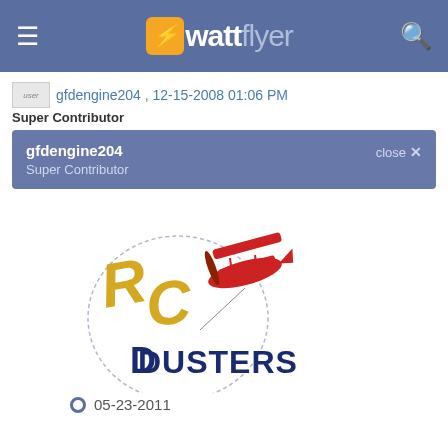wattflyer
gfdengine204 , 12-15-2008 01:06 PM
Super Contributor
gfdengine204
Super Contributor
close ×
[Figure (logo): RC Dusters logo with red biplane]
05-23-2011
Join Date
May 2007
Location
Sandwich, IL